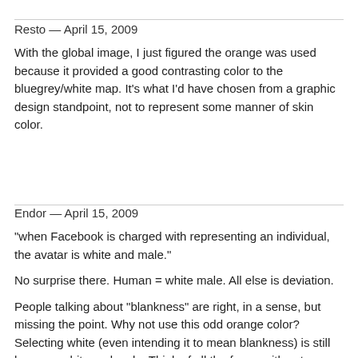Resto — April 15, 2009
With the global image, I just figured the orange was used because it provided a good contrasting color to the bluegrey/white map. It's what I'd have chosen from a graphic design standpoint, not to represent some manner of skin color.
Endor — April 15, 2009
"when Facebook is charged with representing an individual, the avatar is white and male."
No surprise there. Human = white male. All else is deviation.
People talking about "blankness" are right, in a sense, but missing the point. Why not use this odd orange color? Selecting white (even intending it to mean blankness) is still human =white and male. Think of all the forms with set